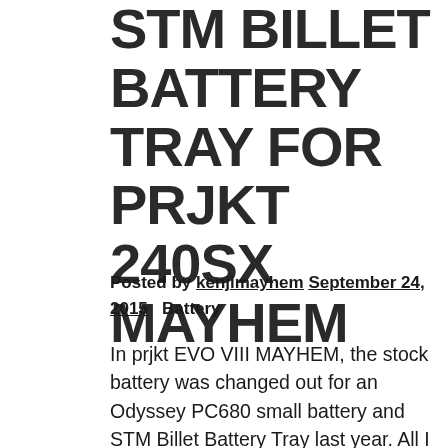STM BILLET BATTERY TRAY FOR PRJKT 240SX MAYHEM
Posted by kenjimayhem September 24, 2015   Battery
In prjkt EVO VIII MAYHEM, the stock battery was changed out for an Odyssey PC680 small battery and STM Billet Battery Tray last year. All I can